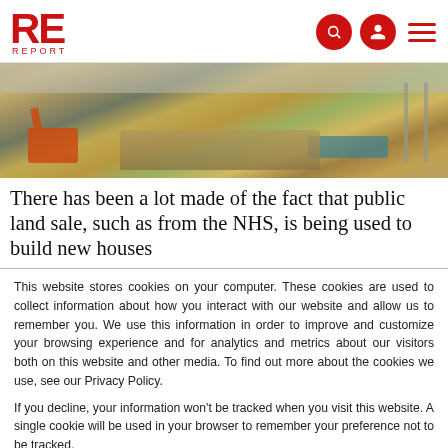RE REPORT
[Figure (photo): Construction site with building materials, scaffolding, and machinery including orange digger]
There has been a lot made of the fact that public land sale, such as from the NHS, is being used to build new houses
This website stores cookies on your computer. These cookies are used to collect information about how you interact with our website and allow us to remember you. We use this information in order to improve and customize your browsing experience and for analytics and metrics about our visitors both on this website and other media. To find out more about the cookies we use, see our Privacy Policy.
If you decline, your information won't be tracked when you visit this website. A single cookie will be used in your browser to remember your preference not to be tracked.
Accept | Decline